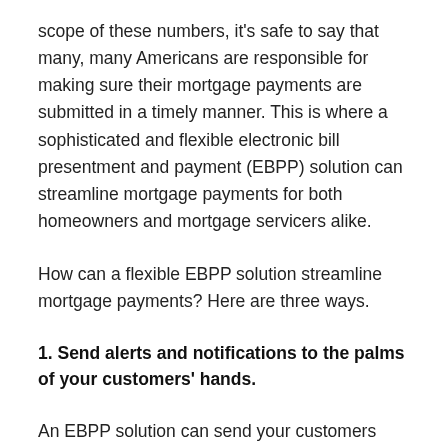scope of these numbers, it's safe to say that many, many Americans are responsible for making sure their mortgage payments are submitted in a timely manner. This is where a sophisticated and flexible electronic bill presentment and payment (EBPP) solution can streamline mortgage payments for both homeowners and mortgage servicers alike.
How can a flexible EBPP solution streamline mortgage payments? Here are three ways.
1. Send alerts and notifications to the palms of your customers' hands.
An EBPP solution can send your customers alerts and notifications about their mortgage accounts